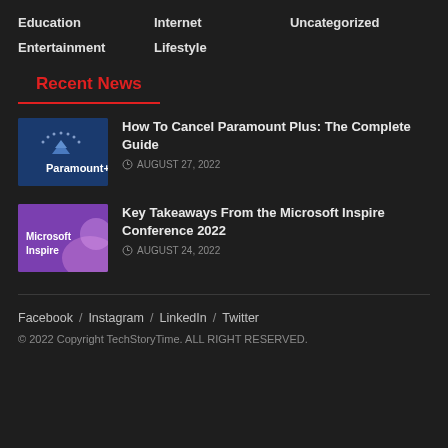Education
Internet
Uncategorized
Entertainment
Lifestyle
Recent News
[Figure (photo): Paramount+ logo on blue background]
How To Cancel Paramount Plus: The Complete Guide
AUGUST 27, 2022
[Figure (photo): Microsoft Inspire conference branding on purple background]
Key Takeaways From the Microsoft Inspire Conference 2022
AUGUST 24, 2022
Facebook / Instagram / LinkedIn / Twitter
© 2022 Copyright TechStoryTime. ALL RIGHT RESERVED.